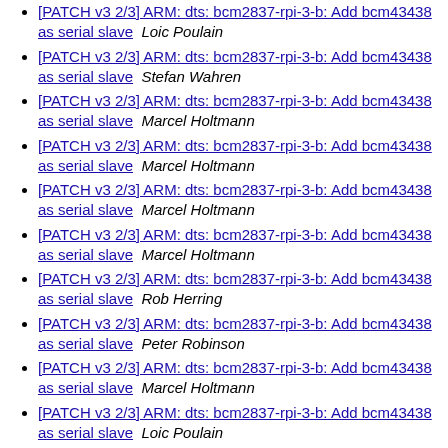[PATCH v3 2/3] ARM: dts: bcm2837-rpi-3-b: Add bcm43438 as serial slave  Loic Poulain
[PATCH v3 2/3] ARM: dts: bcm2837-rpi-3-b: Add bcm43438 as serial slave  Stefan Wahren
[PATCH v3 2/3] ARM: dts: bcm2837-rpi-3-b: Add bcm43438 as serial slave  Marcel Holtmann
[PATCH v3 2/3] ARM: dts: bcm2837-rpi-3-b: Add bcm43438 as serial slave  Marcel Holtmann
[PATCH v3 2/3] ARM: dts: bcm2837-rpi-3-b: Add bcm43438 as serial slave  Marcel Holtmann
[PATCH v3 2/3] ARM: dts: bcm2837-rpi-3-b: Add bcm43438 as serial slave  Marcel Holtmann
[PATCH v3 2/3] ARM: dts: bcm2837-rpi-3-b: Add bcm43438 as serial slave  Rob Herring
[PATCH v3 2/3] ARM: dts: bcm2837-rpi-3-b: Add bcm43438 as serial slave  Peter Robinson
[PATCH v3 2/3] ARM: dts: bcm2837-rpi-3-b: Add bcm43438 as serial slave  Marcel Holtmann
[PATCH v3 2/3] ARM: dts: bcm2837-rpi-3-b: Add bcm43438 as serial slave  Loic Poulain
[PATCH v3 2/3] ARM: dts: bcm2837-rpi-3-b: Add bcm43438 as serial slave  Marcel Holtmann
[PATCH v3 2/3] ARM: dts: bcm2837-rpi-3-b: Add bcm43438 as serial slave  Marcel Holtmann
[PATCH v3 2/3] ARM: dts: bcm2837-rpi-3-b: Add bcm43438 as serial slave  Eric Anholt